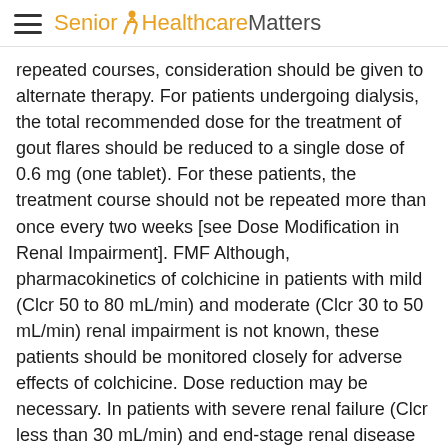Senior Healthcare Matters
repeated courses, consideration should be given to alternate therapy. For patients undergoing dialysis, the total recommended dose for the treatment of gout flares should be reduced to a single dose of 0.6 mg (one tablet). For these patients, the treatment course should not be repeated more than once every two weeks [see Dose Modification in Renal Impairment]. FMF Although, pharmacokinetics of colchicine in patients with mild (Clcr 50 to 80 mL/min) and moderate (Clcr 30 to 50 mL/min) renal impairment is not known, these patients should be monitored closely for adverse effects of colchicine. Dose reduction may be necessary. In patients with severe renal failure (Clcr less than 30 mL/min) and end-stage renal disease requiring dialysis, COLCRYS may be started at the dose of 0.3 mg/day. Any increase in dose should be done with adequate